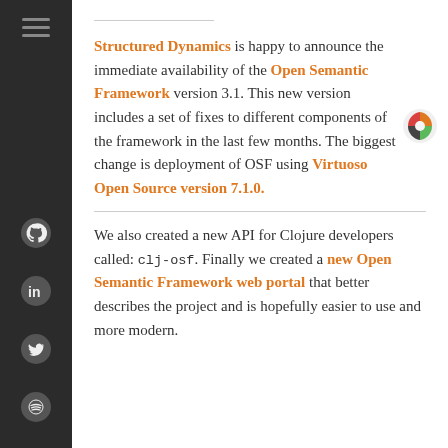Structured Dynamics is happy to announce the immediate availability of the Open Semantic Framework version 3.1. This new version includes a set of fixes to different components of the framework in the last few months. The biggest change is deployment of OSF using Virtuoso Open Source version 7.1.0.
We also created a new API for Clojure developers called: clj-osf. Finally we created a new Open Semantic Framework web portal that better describes the project and is hopefully easier to use and more modern.